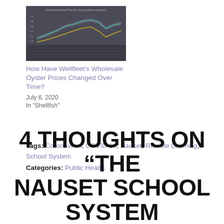[Figure (continuous-plot): Dark background line chart showing Wellfleet wholesale oyster prices over time, with multiple colored lines (cyan, yellow/gold) and a data table below the chart area.]
How Have Wellfleet's Wholesale Oyster Prices Changed Over Time?
July 6, 2020
In "Shellfish"
Tags: Coronavirus, COVID-19, Nauset, Remote Learning, School System
Categories: Public Health
4 THOUGHTS ON “THE NAUSET SCHOOL SYSTEM